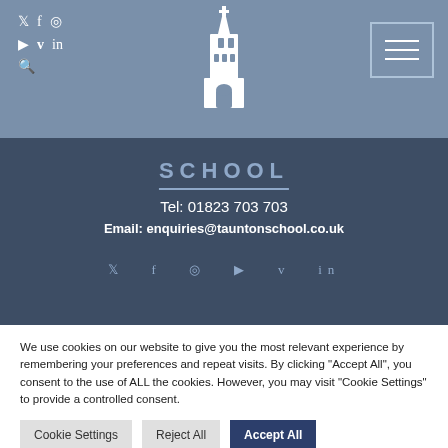[Figure (logo): Taunton School tower/spire logo icon in white on blue-grey background header]
[Figure (screenshot): Social media icons: Twitter, Facebook, Instagram, YouTube, Vimeo, LinkedIn, Search in white on blue-grey header background]
[Figure (screenshot): Hamburger menu button with white lines in a bordered box on top right of header]
SCHOOL
Tel: 01823 703 703
Email: enquiries@tauntonschool.co.uk
[Figure (screenshot): Social media icons row: Twitter, Facebook, Instagram, YouTube, Vimeo, LinkedIn in muted blue on dark footer]
We use cookies on our website to give you the most relevant experience by remembering your preferences and repeat visits. By clicking "Accept All", you consent to the use of ALL the cookies. However, you may visit "Cookie Settings" to provide a controlled consent.
Cookie Settings  Reject All  Accept All